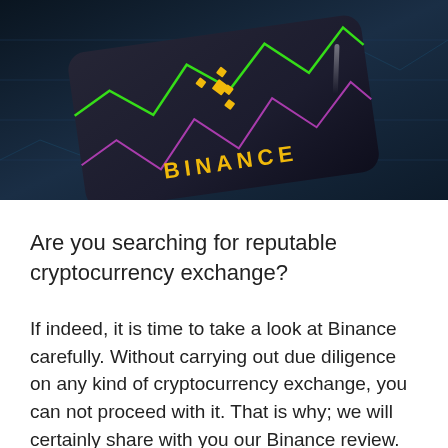[Figure (photo): A close-up photo of a dark smartphone or tablet device with the Binance logo (yellow text and icon) displayed on its screen, set against a dark background with green and pink cryptocurrency chart lines visible.]
Are you searching for reputable cryptocurrency exchange?
If indeed, it is time to take a look at Binance carefully. Without carrying out due diligence on any kind of cryptocurrency exchange, you can not proceed with it. That is why; we will certainly share with you our Binance review.
Binance is a cryptocurrency exchange based